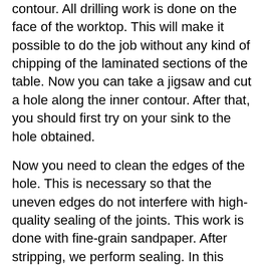contour. All drilling work is done on the face of the worktop. This will make it possible to do the job without any kind of chipping of the laminated sections of the table. Now you can take a jigsaw and cut a hole along the inner contour. After that, you should first try on your sink to the hole obtained.
Now you need to clean the edges of the hole. This is necessary so that the uneven edges do not interfere with high-quality sealing of the joints. This work is done with fine-grain sandpaper. After stripping, we perform sealing. In this case, you can use two methods:
1. Sealant.
2. PVA glue.